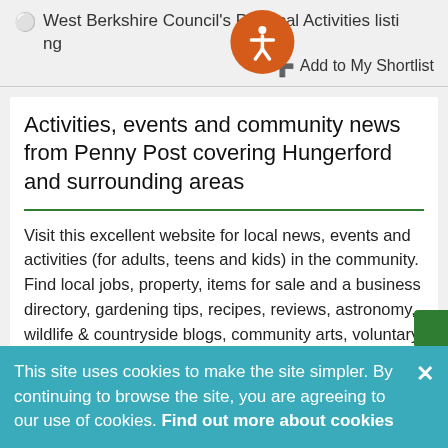West Berkshire Council's Physical Activities listing
Add to My Shortlist
Activities, events and community news from Penny Post covering Hungerford and surrounding areas
Visit this excellent website for local news, events and activities (for adults, teens and kids) in the community. Find local jobs, property, items for sale and a business directory, gardening tips, recipes, reviews, astronomy, wildlife & countryside blogs, community arts, voluntary groups, security tips, local school news and lots more – all in...
This site uses cookies to make the site simpler. By continuing to browse the site, you are agreeing to our use of cookies. Find out more about cookies